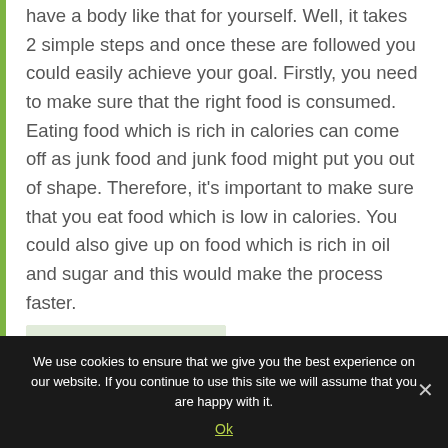have a body like that for yourself. Well, it takes 2 simple steps and once these are followed you could easily achieve your goal. Firstly, you need to make sure that the right food is consumed. Eating food which is rich in calories can come off as junk food and junk food might put you out of shape. Therefore, it's important to make sure that you eat food which is low in calories. You could also give up on food which is rich in oil and sugar and this would make the process faster.
[Figure (photo): Photo of a person's outstretched arms, possibly doing a yoga or stretching pose, with a light background]
You could start off by getting yourself a
We use cookies to ensure that we give you the best experience on our website. If you continue to use this site we will assume that you are happy with it.
Ok